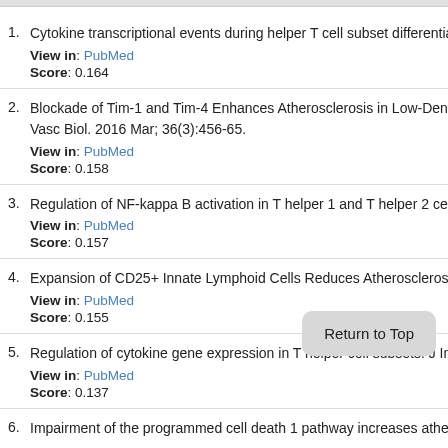1. Cytokine transcriptional events during helper T cell subset differentiation.
View in: PubMed
Score: 0.164
2. Blockade of Tim-1 and Tim-4 Enhances Atherosclerosis in Low-Density L... Vasc Biol. 2016 Mar; 36(3):456-65.
View in: PubMed
Score: 0.158
3. Regulation of NF-kappa B activation in T helper 1 and T helper 2 cells. J...
View in: PubMed
Score: 0.157
4. Expansion of CD25+ Innate Lymphoid Cells Reduces Atherosclerosis. A...
View in: PubMed
Score: 0.155
5. Regulation of cytokine gene expression in T helper cell subsets. J Immu...
View in: PubMed
Score: 0.137
6. Impairment of the programmed cell death 1 pathway increases atheroscl...